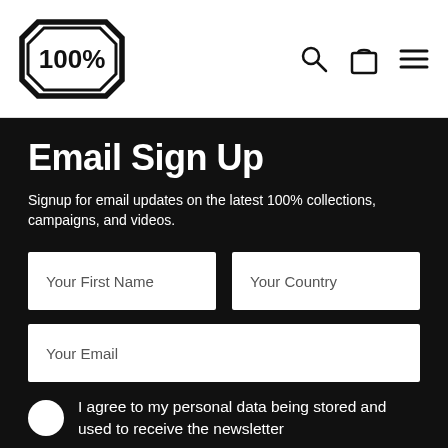[Figure (logo): 100% brand logo — octagon shield shape with '100%' text inside]
Email Sign Up
Signup for email updates on the latest 100% collections, campaigns, and videos.
Your First Name (form field)
Your Country (form field)
Your Email (form field)
I agree to my personal data being stored and used to receive the newsletter
We use email and targeted online advertising to send you product and services updates, promotional offers, and other marketing communications based on the information we collect about you, such as your email address, general location, and purchase and website browsing history.